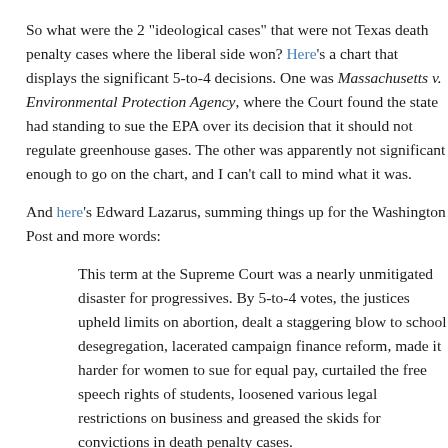So what were the 2 "ideological cases" that were not Texas death penalty cases where the liberal side won? Here's a chart that displays the significant 5-to-4 decisions. One was Massachusetts v. Environmental Protection Agency, where the Court found the state had standing to sue the EPA over its decision that it should not regulate greenhouse gases. The other was apparently not significant enough to go on the chart, and I can't call to mind what it was.
And here's Edward Lazarus, summing things up for the Washington Post and n words:
This term at the Supreme Court was a nearly unmitigated disaster for prog. By 5-to-4 votes, the justices upheld limits on abortion, dealt a staggering b to school desegregation, lacerated campaign finance reform, made it harder for women to sue for equal pay, curtailed the free speech rights of students, loosened various legal restrictions on business and greased the skids for convictions in death penalty cases.
No mitigation in that global warming case? Those four Texas death penalty ca nothing about all that grease on the skids? And how about all the times Scalia demanded a stark overruling and the moderate conservatives resisted? A "stag to school desegregation"? Come on, that could only have been "unmitigated"